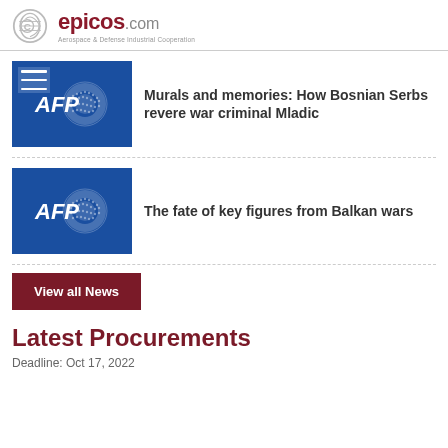epicos.com — Aerospace & Defense Industrial Cooperation
[Figure (illustration): AFP logo thumbnail for news article 1 with hamburger menu icon overlay]
Murals and memories: How Bosnian Serbs revere war criminal Mladic
[Figure (illustration): AFP logo thumbnail for news article 2]
The fate of key figures from Balkan wars
View all News
Latest Procurements
Deadline: Oct 17, 2022